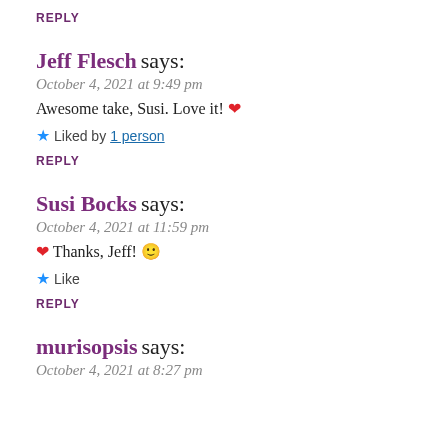REPLY
Jeff Flesch says:
October 4, 2021 at 9:49 pm
Awesome take, Susi. Love it! ❤
★ Liked by 1 person
REPLY
Susi Bocks says:
October 4, 2021 at 11:59 pm
❤ Thanks, Jeff! 🙂
★ Like
REPLY
murisopsis says:
October 4, 2021 at 8:27 pm